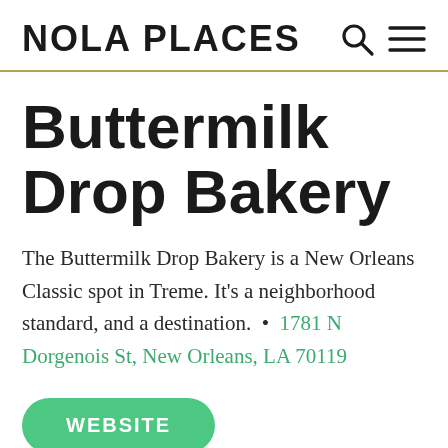NOLA PLACES
Buttermilk Drop Bakery
The Buttermilk Drop Bakery is a New Orleans Classic spot in Treme. It’s a neighborhood standard, and a destination. • 1781 N Dorgenois St, New Orleans, LA 70119
WEBSITE